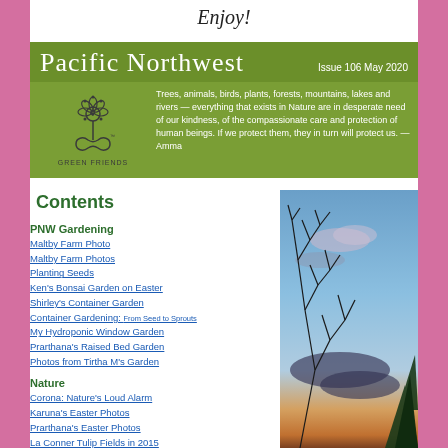Enjoy!
[Figure (logo): Pacific Northwest newsletter header with Green Friends logo, issue 106 May 2020]
Contents
PNW Gardening
Maltby Farm Photo
Maltby Farm Photos
Planting Seeds
Ken's Bonsai Garden on Easter
Shirley's Container Garden
Container Gardening: From Seed to Sprouts
My Hydroponic Window Garden
Prarthana's Raised Bed Garden
Photos from Tirtha M's Garden
Nature
Corona: Nature's Loud Alarm
Karuna's Easter Photos
Prarthana's Easter Photos
La Conner Tulip Fields in 2015
Pollen Anyone?
Trees and Their Relationships
Sarah's Spring Photos
Connie Hansen Gardens Photo
PNW Litter Project
[Figure (photo): Twilight sky photo with bare tree branches silhouetted against blue and orange sky, evergreen trees at right edge]